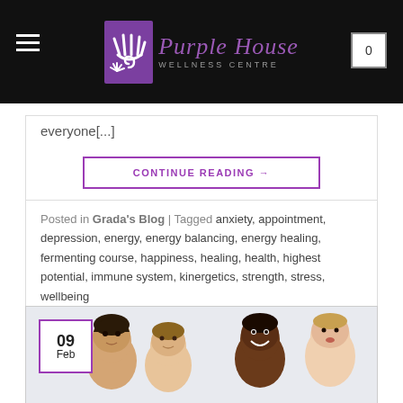Purple House Wellness Centre
everyone[...]
CONTINUE READING →
Posted in Grada's Blog | Tagged anxiety, appointment, depression, energy, energy balancing, energy healing, fermenting course, happiness, healing, health, highest potential, immune system, kinergetics, strength, stress, wellbeing
[Figure (photo): Four babies of different ethnicities sitting together against a light background, with a date box showing 09 Feb in the upper left]
09 Feb